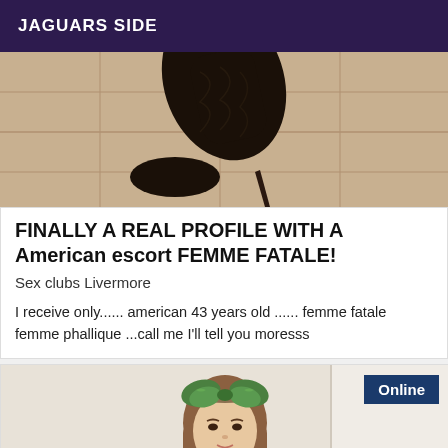JAGUARS SIDE
[Figure (photo): Close-up photo of a black snakeskin high-heel boot on a tiled floor]
FINALLY A REAL PROFILE WITH A American escort FEMME FATALE!
Sex clubs Livermore
I receive only...... american 43 years old ...... femme fatale femme phallique ...call me I'll tell you moresss
[Figure (photo): Photo of a young woman with long brown hair wearing a green floral bow headband, with an 'Online' badge in the top right corner]